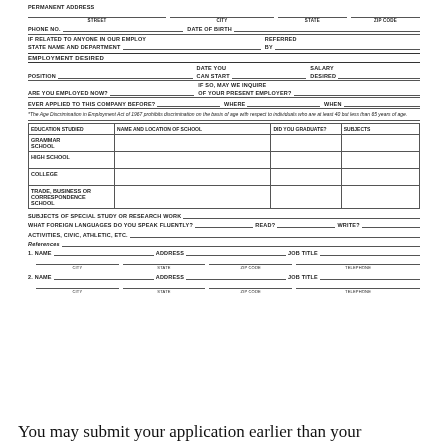| EDUCATION STUDIED | NAME AND LOCATION OF SCHOOL | DID YOU GRADUATE? | SUBJECTS |
| --- | --- | --- | --- |
| GRAMMAR SCHOOL |  |  |  |
| HIGH SCHOOL |  |  |  |
| COLLEGE |  |  |  |
| TRADE, BUSINESS OR CORRESPONDENCE SCHOOL |  |  |  |
PERMANENT ADDRESS
PHONE NO.   DATE OF BIRTH
IF RELATED TO ANYONE IN OUR EMPLOY STATE NAME AND DEPARTMENT   REFERRED BY
EMPLOYMENT DESIRED
POSITION   DATE YOU CAN START   SALARY DESIRED
ARE YOU EMPLOYED NOW?   IF SO, MAY WE INQUIRE OF YOUR PRESENT EMPLOYER?
EVER APPLIED TO THIS COMPANY BEFORE?   WHERE   WHEN
*The Age Discrimination in Employment Act of 1967 prohibits discrimination on the basis of age with respect to individuals who are at least 40 but less than 65 years of age.
SUBJECTS OF SPECIAL STUDY OR RESEARCH WORK
WHAT FOREIGN LANGUAGES DO YOU SPEAK FLUENTLY?   READ?   WRITE?
ACTIVITIES, CIVIC, ATHLETIC, ETC.
References
1. Name   Address   Job Title
   City   State   Zip Code   Telephone
2. Name   Address   Job Title
   City   State   Zip Code   Telephone
You may submit your application earlier than your